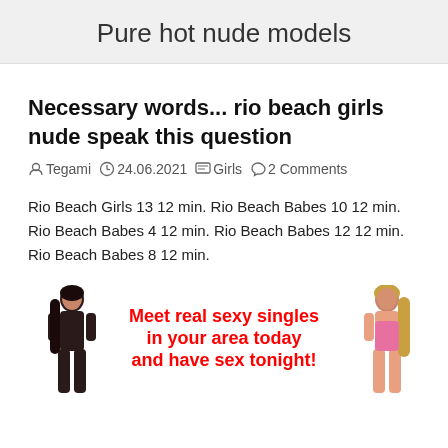Pure hot nude models
Necessary words... rio beach girls nude speak this question
Tegami  24.06.2021  Girls  2 Comments
Rio Beach Girls 13 12 min. Rio Beach Babes 10 12 min. Rio Beach Babes 4 12 min. Rio Beach Babes 12 12 min. Rio Beach Babes 8 12 min.
[Figure (infographic): Advertisement banner with two female figures on left and right, and red bold text in center reading 'Meet real sexy singles in your area today and have sex tonight!']